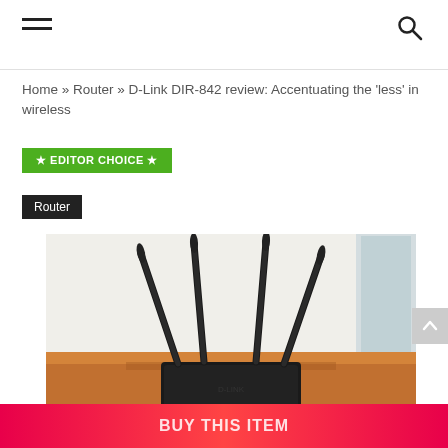Navigation header with hamburger menu and search icon
Home » Router » D-Link DIR-842 review: Accentuating the 'less' in wireless
★ EDITOR CHOICE ★
Router
[Figure (photo): D-Link DIR-842 wireless router with four black antennas raised, sitting on a wooden table in a bright room]
BUY THIS ITEM